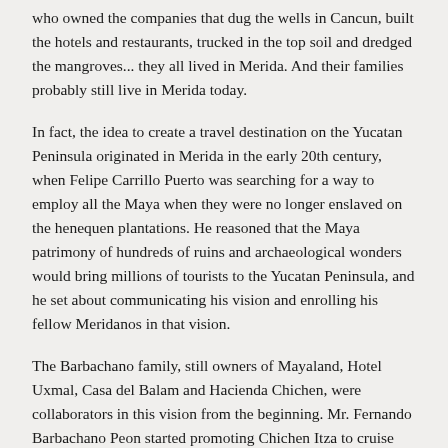who owned the companies that dug the wells in Cancun, built the hotels and restaurants, trucked in the top soil and dredged the mangroves... they all lived in Merida. And their families probably still live in Merida today.
In fact, the idea to create a travel destination on the Yucatan Peninsula originated in Merida in the early 20th century, when Felipe Carrillo Puerto was searching for a way to employ all the Maya when they were no longer enslaved on the henequen plantations. He reasoned that the Maya patrimony of hundreds of ruins and archaeological wonders would bring millions of tourists to the Yucatan Peninsula, and he set about communicating his vision and enrolling his fellow Meridanos in that vision.
The Barbachano family, still owners of Mayaland, Hotel Uxmal, Casa del Balam and Hacienda Chichen, were collaborators in this vision from the beginning. Mr. Fernando Barbachano Peon started promoting Chichen Itza to cruise passengers who landed in Progreso, and he never looked back. He would take tourists to the ruins in an old Ford Model T, using it also to tour the ruins which were less easy to navigate in those days. Mr. Ernest